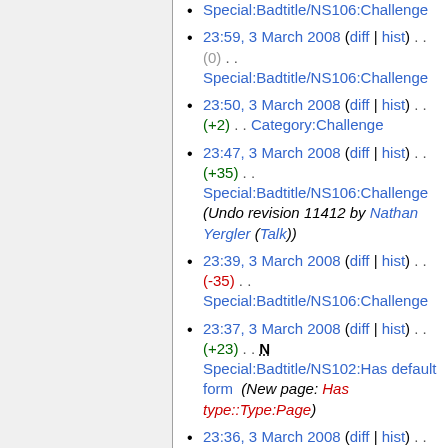23:59, 3 March 2008 (diff | hist) . . (0) . . Special:Badtitle/NS106:Challenge
23:50, 3 March 2008 (diff | hist) . . (+2) . . Category:Challenge
23:47, 3 March 2008 (diff | hist) . . (+35) . . Special:Badtitle/NS106:Challenge (Undo revision 11412 by Nathan Yergler (Talk))
23:39, 3 March 2008 (diff | hist) . . (-35) . . Special:Badtitle/NS106:Challenge
23:37, 3 March 2008 (diff | hist) . . (+23) . . N Special:Badtitle/NS102:Has default form  (New page: Has type::Type:Page)
23:36, 3 March 2008 (diff | hist) . .